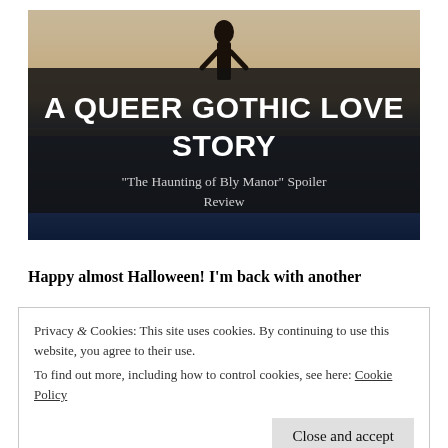[Figure (illustration): Hero image of a dark silhouette figure against a beach/water background (tan sky, dark blue water), with a dark semi-transparent overlay box containing the title 'A QUEER GOTHIC LOVE STORY' in large bold white uppercase text and subtitle '"The Haunting of Bly Manor" Spoiler Review' in lighter text below.]
Happy almost Halloween! I'm back with another
Privacy & Cookies: This site uses cookies. By continuing to use this website, you agree to their use.
To find out more, including how to control cookies, see here: Cookie Policy
Close and accept